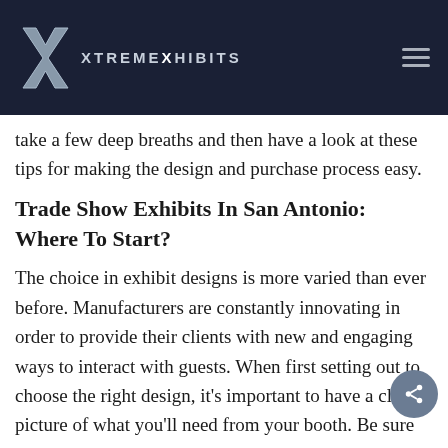XtremeXhibits
take a few deep breaths and then have a look at these tips for making the design and purchase process easy.
Trade Show Exhibits In San Antonio: Where To Start?
The choice in exhibit designs is more varied than ever before. Manufacturers are constantly innovating in order to provide their clients with new and engaging ways to interact with guests. When first setting out to choose the right design, it's important to have a clear picture of what you'll need from your booth. Be sure you're able to answer these questions: